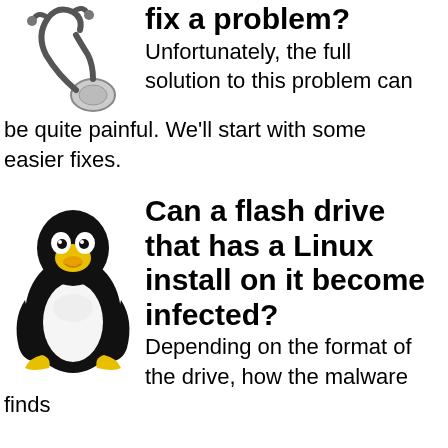[Figure (illustration): Stethoscope illustration at top left]
fix a problem?
Unfortunately, the full solution to this problem can be quite painful. We'll start with some easier fixes.
[Figure (illustration): Tux the Linux penguin mascot illustration]
Can a flash drive that has a Linux install on it become infected?
Depending on the format of the drive, how the malware finds...